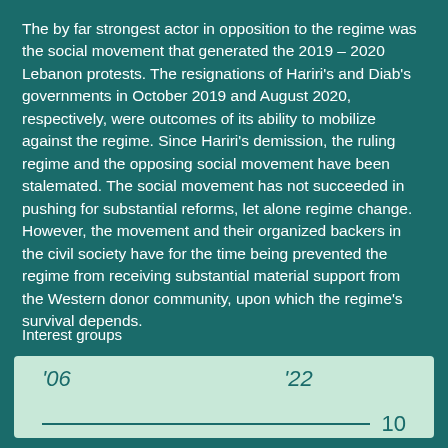The by far strongest actor in opposition to the regime was the social movement that generated the 2019 – 2020 Lebanon protests. The resignations of Hariri's and Diab's governments in October 2019 and August 2020, respectively, were outcomes of its ability to mobilize against the regime. Since Hariri's demission, the ruling regime and the opposing social movement have been stalemated. The social movement has not succeeded in pushing for substantial reforms, let alone regime change. However, the movement and their organized backers in the civil society have for the time being prevented the regime from receiving substantial material support from the Western donor community, upon which the regime's survival depends.
Interest groups
[Figure (infographic): A light green box showing 'Interest groups' data with year labels '06 and '22, a horizontal line, and the value 10.]